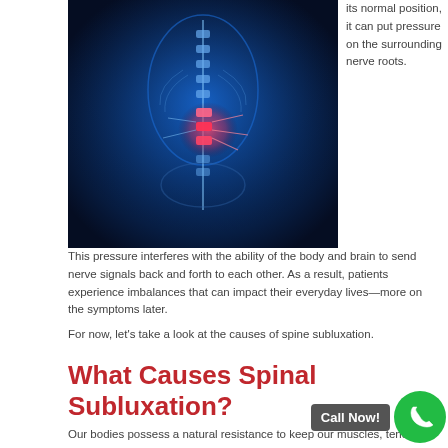[Figure (photo): Medical illustration of human spine/back anatomy with glowing blue X-ray style body and highlighted spine with red/pink glowing region indicating subluxation area]
its normal position, it can put pressure on the surrounding nerve roots.
This pressure interferes with the ability of the body and brain to send nerve signals back and forth to each other. As a result, patients experience imbalances that can impact their everyday lives—more on the symptoms later.
For now, let's take a look at the causes of spine subluxation.
What Causes Spinal Subluxation?
Our bodies possess a natural resistance to keep our muscles, tendons, and ligaments aligned. So, for a patient to experience subluxation spine, their backbone must encounter a strong enough force to overcome this natural resistance.